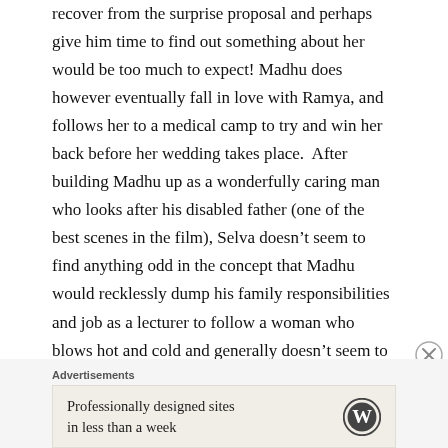recover from the surprise proposal and perhaps give him time to find out something about her would be too much to expect! Madhu does however eventually fall in love with Ramya, and follows her to a medical camp to try and win her back before her wedding takes place.  After building Madhu up as a wonderfully caring man who looks after his disabled father (one of the best scenes in the film), Selva doesn't seem to find anything odd in the concept that Madhu would recklessly dump his family responsibilities and job as a lecturer to follow a woman who blows hot and cold and generally doesn't seem to have any idea what she wants from him.  Ramya is tedious in her indecisiveness and by the time the lifeless romance does manage to reach some form of conclusion it's hard to care in any way about either Ramya or Madhu.
[Figure (other): Close button (X in circle) for advertisement]
Advertisements
[Figure (logo): WordPress advertisement banner: 'Professionally designed sites in less than a week' with WordPress logo]